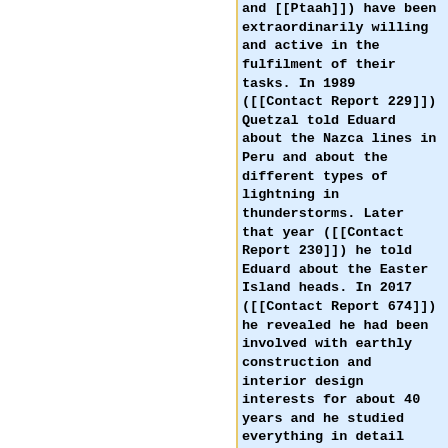and [[Ptaah]]) have been extraordinarily willing and active in the fulfilment of their tasks. In 1989 ([[Contact Report 229]]) Quetzal told Eduard about the Nazca lines in Peru and about the different types of lightning in thunderstorms. Later that year ([[Contact Report 230]]) he told Eduard about the Easter Island heads. In 2017 ([[Contact Report 674]]) he revealed he had been involved with earthly construction and interior design interests for about 40 years and he studied everything in detail when BEAM acquired the